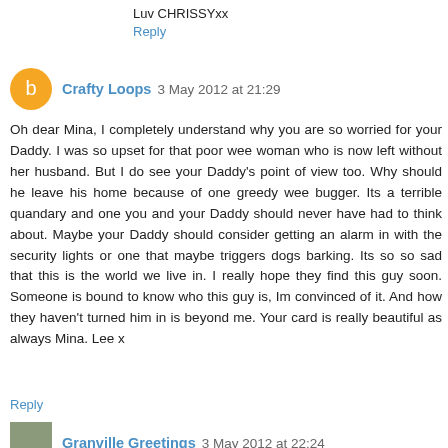Luv CHRISSYxx
Reply
Crafty Loops 3 May 2012 at 21:29
Oh dear Mina, I completely understand why you are so worried for your Daddy. I was so upset for that poor wee woman who is now left without her husband. But I do see your Daddy's point of view too. Why should he leave his home because of one greedy wee bugger. Its a terrible quandary and one you and your Daddy should never have had to think about. Maybe your Daddy should consider getting an alarm in with the security lights or one that maybe triggers dogs barking. Its so so sad that this is the world we live in. I really hope they find this guy soon. Someone is bound to know who this guy is, Im convinced of it. And how they haven't turned him in is beyond me. Your card is really beautiful as always Mina. Lee x
Reply
Granville Greetings 3 May 2012 at 22:24